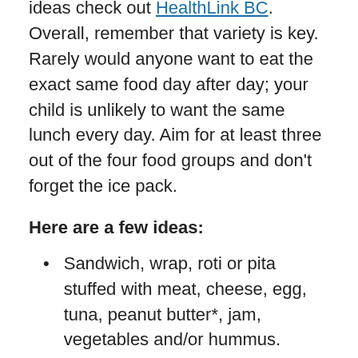ideas check out HealthLink BC. Overall, remember that variety is key. Rarely would anyone want to eat the exact same food day after day; your child is unlikely to want the same lunch every day. Aim for at least three out of the four food groups and don't forget the ice pack.
Here are a few ideas:
Sandwich, wrap, roti or pita stuffed with meat, cheese, egg, tuna, peanut butter*, jam, vegetables and/or hummus.
Chili, stew, perogies, soup, samosas, pasta salad
Waffles, pancakes or muffins